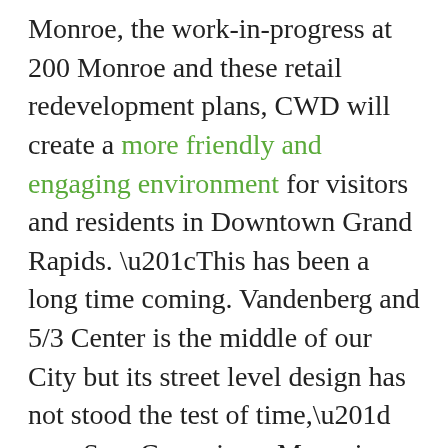Monroe, the work-in-progress at 200 Monroe and these retail redevelopment plans, CWD will create a more friendly and engaging environment for visitors and residents in Downtown Grand Rapids. “This has been a long time coming. Vandenberg and 5/3 Center is the middle of our City but its street level design has not stood the test of time,” says Sam Cummings, Managing Partner of CWD. “With the proximity of our best hotels and our incredible convention center it has the best location fundamentals for increased retail and restaurant density. This...